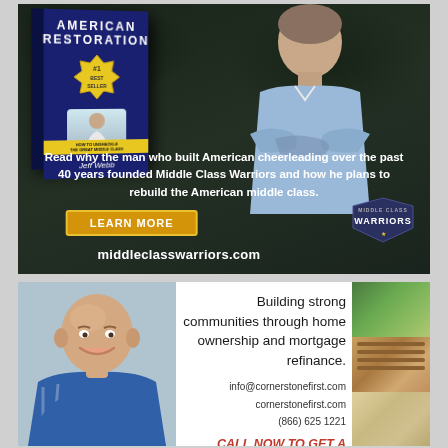[Figure (photo): Advertisement for 'American Restoration' book by Jeff Webb, #1 Best Seller. Shows book cover and man with arms crossed. Promotes Middle Class Warriors organization. Text: 'Read why the man who built American cheerleading over the past 40 years founded Middle Class Warriors and how he plans to rebuild the American middle class.' Button: 'LEARN MORE'. Website: middleclasswarriors.com]
[Figure (photo): Advertisement for Cornerstone First mortgage company. Smiling bald man in blue shirt. Aerial photos of homes on right side. Text: 'Building strong communities through home ownership and mortgage refinance. info@cornerstonefirst.com cornerstonefirst.com (866) 625 1221 CALL NOW TO GET A [FREE QUOTE]']